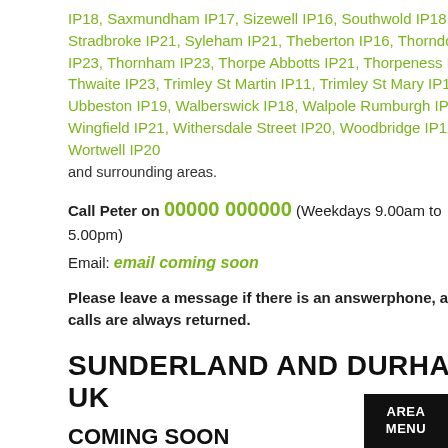IP18, Saxmundham IP17, Sizewell IP16, Southwold IP18, Stradbroke IP21, Syleham IP21, Theberton IP16, Thorndon IP23, Thornham IP23, Thorpe Abbotts IP21, Thorpeness IP16, Thwaite IP23, Trimley St Martin IP11, Trimley St Mary IP11, Ubbeston IP19, Walberswick IP18, Walpole Rumburgh IP19, Wingfield IP21, Withersdale Street IP20, Woodbridge IP12, Wortwell IP20
and surrounding areas.
Call Peter on 00000 000000 (Weekdays 9.00am to 5.00pm)
Email: email coming soon
Please leave a message if there is an answerphone, as calls are always returned.
SUNDERLAND AND DURHAM, UK
COMING SOON
We cover:
Postcode Area DH: